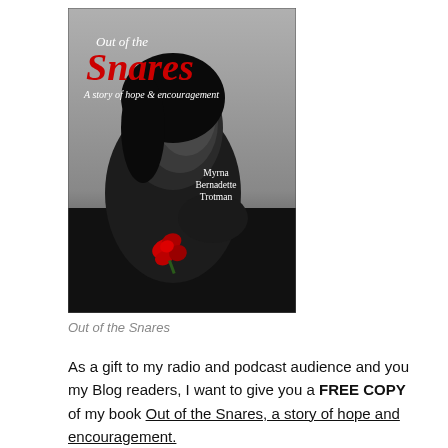[Figure (illustration): Book cover for 'Out of the Snares: A story of hope & encouragement' by Myrna Bernadette Trotman. Black and white photo of a woman with eyes closed holding a red rose, with red and white stylized title text.]
Out of the Snares
As a gift to my radio and podcast audience and you my Blog readers, I want to give you a FREE COPY of my book Out of the Snares, a story of hope and encouragement.